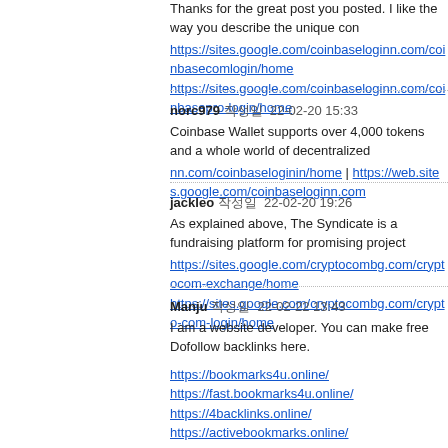Thanks for the great post you posted. I like the way you describe the unique con
https://sites.google.com/coinbaseloginn.com/coinbasecomlogin/home
https://sites.google.com/coinbaseloginn.com/coinbasepro-login/home
norc979 작성일  22-02-20 15:33
Coinbase Wallet supports over 4,000 tokens and a whole world of decentralized
nn.com/coinbaseloginin/home | https://web.sites.google.com/coinbaseloginn.com
jackleo 작성일  22-02-20 19:26
As explained above, The Syndicate is a fundraising platform for promising project
https://sites.google.com/cryptocombg.com/cryptocom-exchange/home
https://sites.google.com/cryptocombg.com/crypto-com-login/home
Manju 작성일  22-02-22 13:43
I am a website developer. You can make free Dofollow backlinks here.
https://bookmarks4u.online/
https://fast.bookmarks4u.online/
https://4backlinks.online/
https://activebookmarks.online/
https://freebookmarkingsubmission.online/
https://freewebsubmission.online/